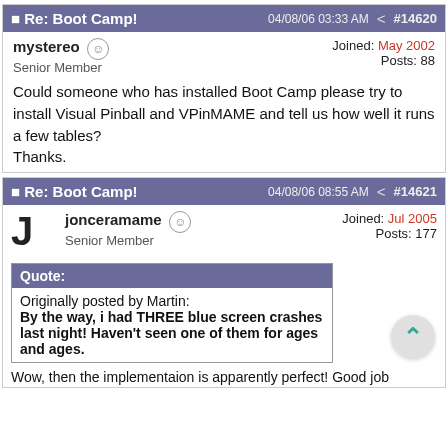Re: Boot Camp! | 04/08/06 03:33 AM | #14620
mystereo  Senior Member  Joined: May 2002  Posts: 88
Could someone who has installed Boot Camp please try to install Visual Pinball and VPinMAME and tell us how well it runs a few tables?
Thanks.
Re: Boot Camp! | 04/08/06 08:55 AM | #14621
jonceramame  Senior Member  Joined: Jul 2005  Posts: 177
Quote: Originally posted by Martin:
By the way, i had THREE blue screen crashes last night! Haven't seen one of them for ages and ages.
Wow, then the implementaion is apparently perfect! Good job